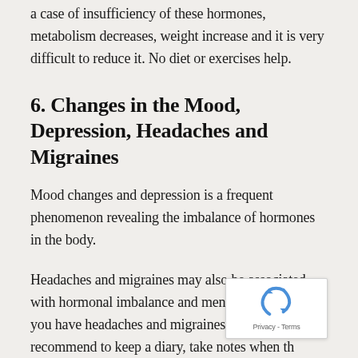a case of insufficiency of these hormones, metabolism decreases, weight increase and it is very difficult to reduce it. No diet or exercises help.
6. Changes in the Mood, Depression, Headaches and Migraines
Mood changes and depression is a frequent phenomenon revealing the imbalance of hormones in the body.
Headaches and migraines may also be associated with hormonal imbalance and menstrual cycle. If you have headaches and migraines, scientists recommend to keep a diary, take notes when th occurs, how their occurrence is associated with the